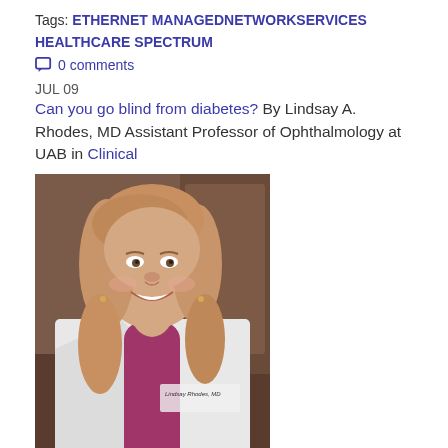Tags: ETHERNET MANAGEDNETWORKSERVICES HEALTHCARE SPECTRUM
0 comments
JUL 09
Can you go blind from diabetes? By Lindsay A. Rhodes, MD Assistant Professor of Ophthalmology at UAB in Clinical
[Figure (photo): Professional headshot of Dr. Lindsay Rhodes, MD, a woman with blonde hair wearing a white doctor's coat with her name tag visible, smiling at the camera.]
Unfortunately, yes! Diabetes is the leading cause of new cases of blindness in adults ages 20-74 in the U.S. African Americans are two times more likely to have diabetic eye disease than Caucasian